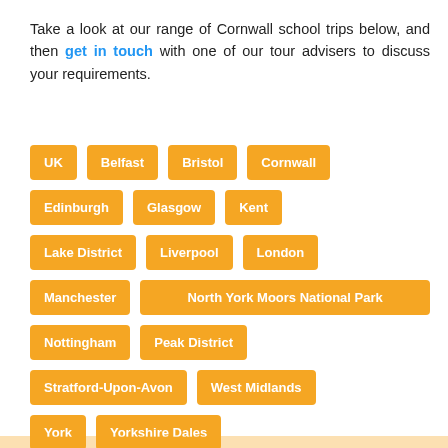Take a look at our range of Cornwall school trips below, and then get in touch with one of our tour advisers to discuss your requirements.
UK
Belfast
Bristol
Cornwall
Edinburgh
Glasgow
Kent
Lake District
Liverpool
London
Manchester
North York Moors National Park
Nottingham
Peak District
Stratford-Upon-Avon
West Midlands
York
Yorkshire Dales